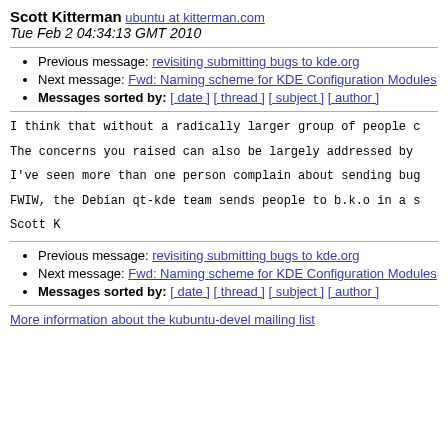Scott Kitterman ubuntu at kitterman.com
Tue Feb 2 04:34:13 GMT 2010
Previous message: revisiting submitting bugs to kde.org
Next message: Fwd: Naming scheme for KDE Configuration Modules
Messages sorted by: [ date ] [ thread ] [ subject ] [ author ]
I think that without a radically larger group of people c
The concerns you raised can also be largely addressed by
I've seen more than one person complain about sending bug
FWIW, the Debian qt-kde team sends people to b.k.o in a s
Scott K
Previous message: revisiting submitting bugs to kde.org
Next message: Fwd: Naming scheme for KDE Configuration Modules
Messages sorted by: [ date ] [ thread ] [ subject ] [ author ]
More information about the kubuntu-devel mailing list